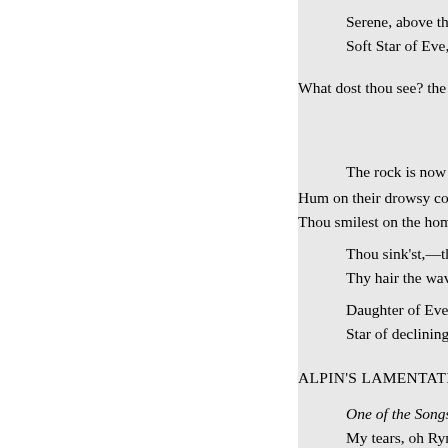Serene, above the summit
Soft Star of Eve, thy beamin
What dost thou see? the bursting
The rock is now bes
Hum on their drowsy course alon
Thou smilest on the home-return
Thou sink'st,—the western
Thy hair the wave encompa
Daughter of Eve! thou glory
Star of declining Day, thou s
ALPIN'S LAMENTATION FO
One of the Songs of
My tears, oh Ryno ! are f
TEARFUL, oh, Ryno, is my
For those who flourish'd, an
I raise the song,—Thou on t
And fair like Moran shalt t